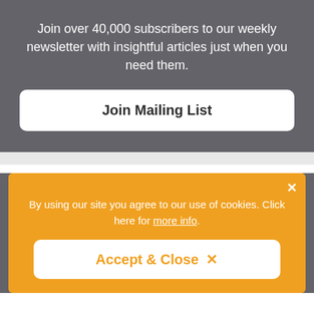Join over 40,000 subscribers to our weekly newsletter with insightful articles just when you need them.
Join Mailing List
By using our site you agree to our use of cookies. Click here for more info.
Accept & Close  ×